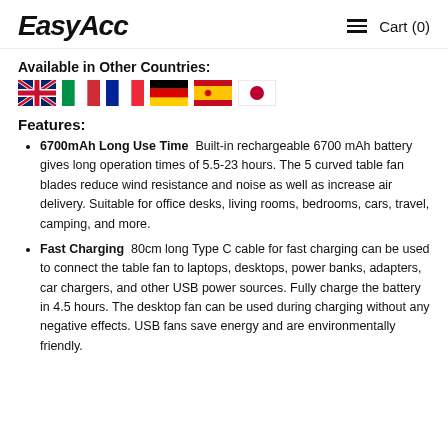EasyAcc  ≡  Cart (0)
Available in Other Countries:
[Figure (illustration): Six country flag icons: UK, Italy, France, Germany, Spain, Japan]
Features:
6700mAh Long Use Time  Built-in rechargeable 6700 mAh battery gives long operation times of 5.5-23 hours. The 5 curved table fan blades reduce wind resistance and noise as well as increase air delivery. Suitable for office desks, living rooms, bedrooms, cars, travel, camping, and more.
Fast Charging  80cm long Type C cable for fast charging can be used to connect the table fan to laptops, desktops, power banks, adapters, car chargers, and other USB power sources. Fully charge the battery in 4.5 hours. The desktop fan can be used during charging without any negative effects. USB fans save energy and are environmentally friendly.